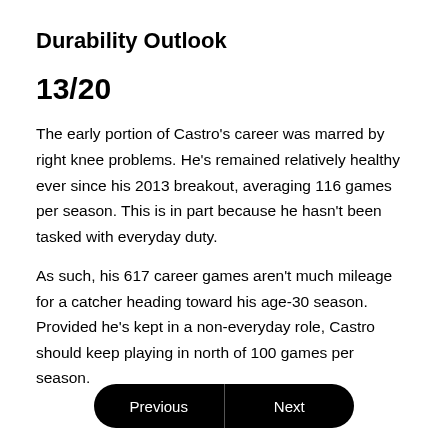Durability Outlook
13/20
The early portion of Castro's career was marred by right knee problems. He's remained relatively healthy ever since his 2013 breakout, averaging 116 games per season. This is in part because he hasn't been tasked with everyday duty.
As such, his 617 career games aren't much mileage for a catcher heading toward his age-30 season. Provided he's kept in a non-everyday role, Castro should keep playing in north of 100 games per season.
Previous | Next